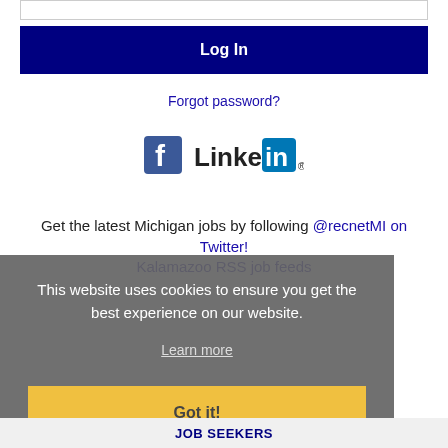[Figure (screenshot): Input field bar at top]
Log In
Forgot password?
[Figure (logo): Facebook and LinkedIn social media icons]
Get the latest Michigan jobs by following @recnetMI on Twitter!
Kalamazoo RSS job feeds
This website uses cookies to ensure you get the best experience on our website.
Learn more
Got it!
JOB SEEKERS